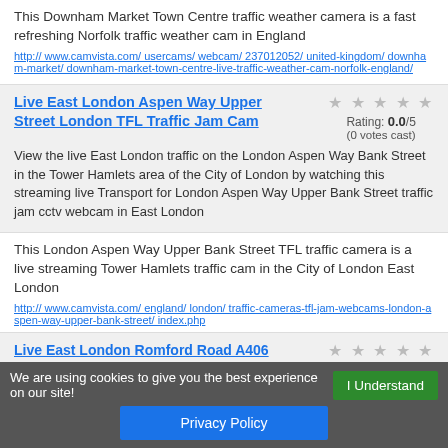This Downham Market Town Centre traffic weather camera is a fast refreshing Norfolk traffic weather cam in England
http:// www.camvista.com/ usercams/ webcam/ 237012052/ united-kingdom/ downham-market/ downham-market-town-centre-live-traffic-weather-cam-norfolk-england/
Live East London Aspen Way Upper Street London TFL Traffic Jam Cam
Rating: 0.0/5 (0 votes cast)
View the live East London traffic on the London Aspen Way Bank Street in the Tower Hamlets area of the City of London by watching this streaming live Transport for London Aspen Way Upper Bank Street traffic jam cctv webcam in East London
This London Aspen Way Upper Bank Street TFL traffic camera is a live streaming Tower Hamlets traffic cam in the City of London East London
http:// www.camvista.com/ england/ london/ traffic-cameras-tfl-jam-webcams-london-aspen-way-upper-bank-street/ index.php
Live East London Romford Road A406 North
View the live East London traffic on the...of the Romford Road at the roa...
We are using cookies to give you the best experience on our site!
I Understand
Privacy Policy